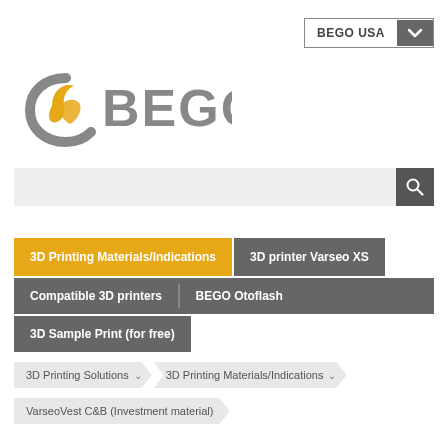[Figure (logo): BEGO USA dropdown selector button top right corner]
[Figure (logo): BEGO logo with golden/grey swirl icon and grey BEGO text]
[Figure (screenshot): Search bar with magnifier icon on grey background]
3D Printing Materials/Indications
3D printer Varseo XS
Compatible 3D printers
BEGO Otoflash
3D Sample Print (for free)
3D Printing Solutions
3D Printing Materials/Indications
VarseoVest C&B (Investment material)